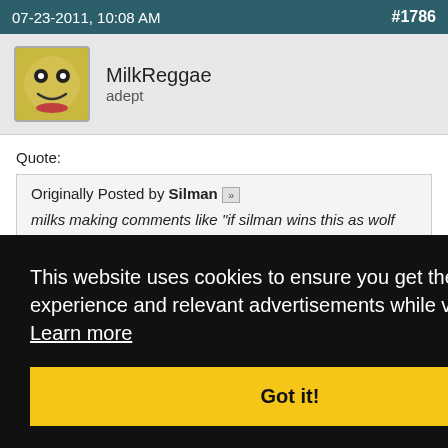07-23-2011, 10:08 AM  #1786
MilkReggae
adept
Quote:
Originally Posted by Silman
milks making comments like "if silman wins this as wolf i'm going to be sick"
cough, softpush, cough
chrja is making comments like "sup solved game, lynch me
This website uses cookies to ensure you get the best experience and relevant advertisements while visiting. Learn more
Got it!
#1787
Carpal \Tunnel